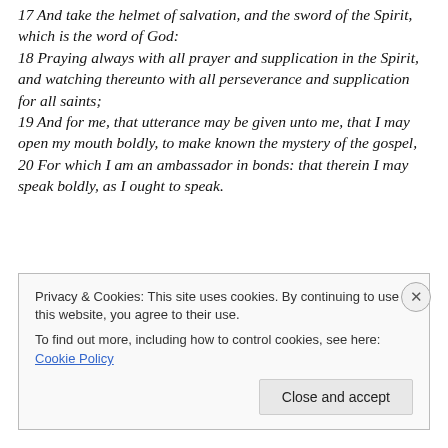17 And take the helmet of salvation, and the sword of the Spirit, which is the word of God: 18 Praying always with all prayer and supplication in the Spirit, and watching thereunto with all perseverance and supplication for all saints; 19 And for me, that utterance may be given unto me, that I may open my mouth boldly, to make known the mystery of the gospel, 20 For which I am an ambassador in bonds: that therein I may speak boldly, as I ought to speak.
Privacy & Cookies: This site uses cookies. By continuing to use this website, you agree to their use.
To find out more, including how to control cookies, see here: Cookie Policy